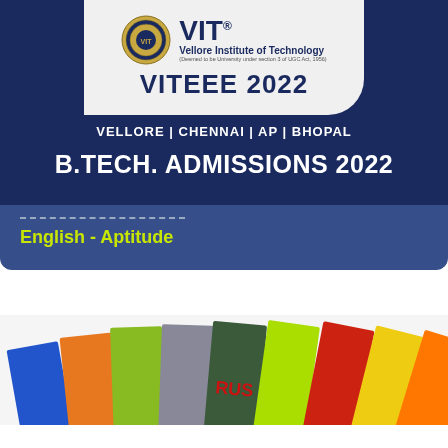[Figure (logo): VIT (Vellore Institute of Technology) logo with emblem and text, with VITEEE 2022 title on white rounded card]
VELLORE | CHENNAI | AP | BHOPAL
B.TECH. ADMISSIONS 2022
English - Aptitude
[Figure (photo): Colorful stacked books with a visible book spine showing partial text 'RUS' (likely 'SYLLABUS'), photographed at an angle on a white background]